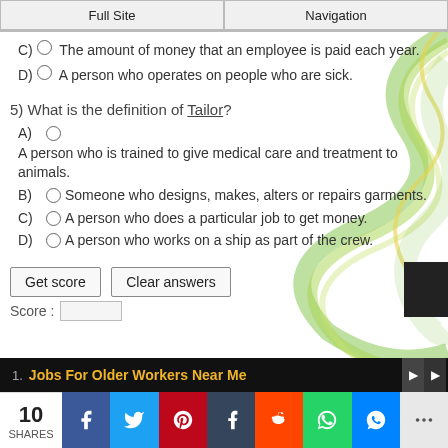Full Site | Navigation
C) The amount of money that an employee is paid each year.
D) A person who operates on people who are sick.
5) What is the definition of Tailor?
A) A person who is trained to give medical care and treatment to animals.
B) Someone who designs, makes, alters or repairs garments.
C) A person who does a particular job to get money.
D) A person who works on a ship as part of the crew.
Get score | Clear answers
Score:
1. Jobs For Older Workers Near Me
10 SHARES